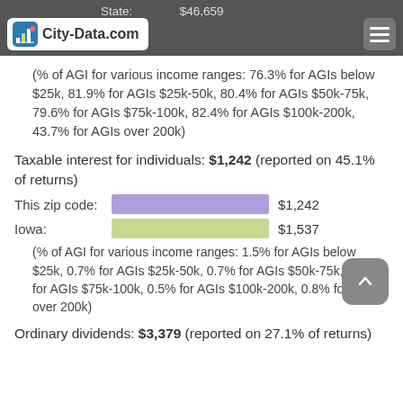City-Data.com | State: $46,659
(% of AGI for various income ranges: 76.3% for AGIs below $25k, 81.9% for AGIs $25k-50k, 80.4% for AGIs $50k-75k, 79.6% for AGIs $75k-100k, 82.4% for AGIs $100k-200k, 43.7% for AGIs over 200k)
Taxable interest for individuals: $1,242 (reported on 45.1% of returns)
[Figure (bar-chart): Taxable interest comparison]
(% of AGI for various income ranges: 1.5% for AGIs below $25k, 0.7% for AGIs $25k-50k, 0.7% for AGIs $50k-75k, 0.6% for AGIs $75k-100k, 0.5% for AGIs $100k-200k, 0.8% for AGIs over 200k)
Ordinary dividends: $3,379 (reported on 27.1% of returns)